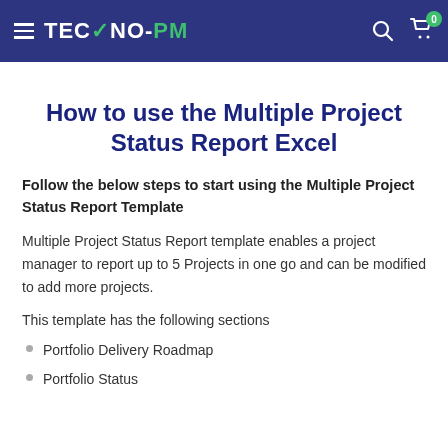TECHNO-PM
How to use the Multiple Project Status Report Excel
Follow the below steps to start using the Multiple Project Status Report Template
Multiple Project Status Report template enables a project manager to report up to 5 Projects in one go and can be modified to add more projects.
This template has the following sections
Portfolio Delivery Roadmap
Portfolio Status